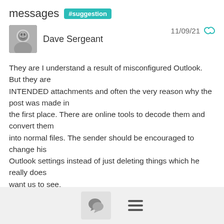messages #suggestion
Dave Sergeant  11/09/21
They are I understand a result of misconfigured Outlook. But they are INTENDED attachments and often the very reason why the post was made in the first place. There are online tools to decode them and convert them into normal files. The sender should be encouraged to change his Outlook settings instead of just deleting things which he really does want us to see.
Dave
On 8 Nov 2021 at 15:15, Bruce Bowman wrote: